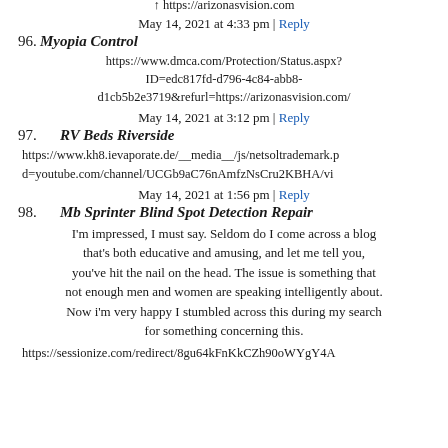https://arizonasvision.com
May 14, 2021 at 4:33 pm | Reply
96. Myopia Control
https://www.dmca.com/Protection/Status.aspx?ID=edc817fd-d796-4c84-abb8-d1cb5b2e3719&refurl=https://arizonasvision.com/
May 14, 2021 at 3:12 pm | Reply
97. RV Beds Riverside
https://www.kh8.ievaporate.de/__media__/js/netsoltrademark.pd=youtube.com/channel/UCGb9aC76nAmfzNsCru2KBHA/vi
May 14, 2021 at 1:56 pm | Reply
98. Mb Sprinter Blind Spot Detection Repair
I'm impressed, I must say. Seldom do I come across a blog that's both educative and amusing, and let me tell you, you've hit the nail on the head. The issue is something that not enough men and women are speaking intelligently about. Now i'm very happy I stumbled across this during my search for something concerning this.
https://sessionize.com/redirect/8gu64kFnKkCZh90oWYgY4A